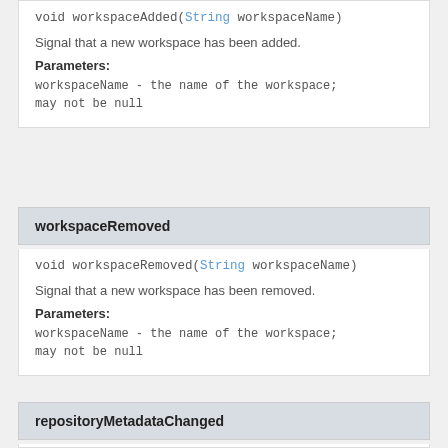void workspaceAdded(String workspaceName)
Signal that a new workspace has been added.
Parameters:
workspaceName - the name of the workspace; may not be null
workspaceRemoved
void workspaceRemoved(String workspaceName)
Signal that a new workspace has been removed.
Parameters:
workspaceName - the name of the workspace; may not be null
repositoryMetadataChanged